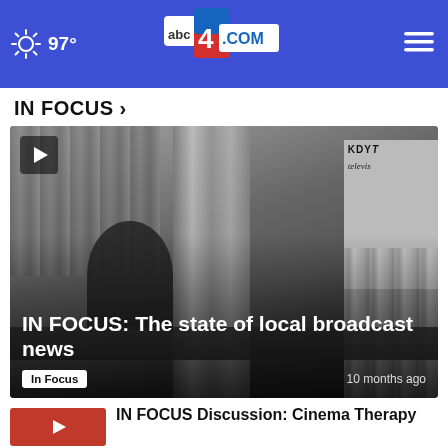97° abc4.com
IN FOCUS >
[Figure (screenshot): Black and white archival video thumbnail showing a man seated at a desk in a television studio with 'KDYT television' signage visible. White play button icon in top-left corner. Overlay text: 'IN FOCUS: The state of local broadcast news'. Tag badge: 'In Focus'. Timestamp: '10 months ago'.]
IN FOCUS: The state of local broadcast news
In Focus   10 months ago
[Figure (screenshot): Small red thumbnail with play button for second video card]
IN FOCUS Discussion: Cinema Therapy